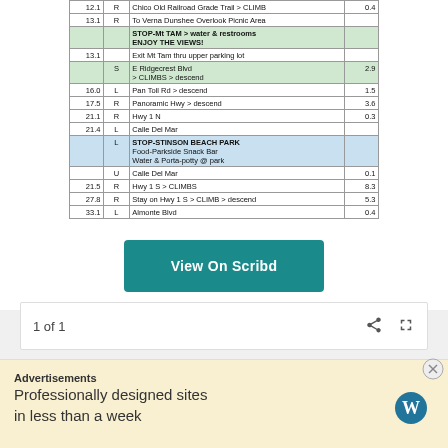| Dist | Dir | Description | Mi |
| --- | --- | --- | --- |
| 12.1 | R | Chico Old Railroad Grade Trail > CLIMB | 0.4 |
| 13.1 | R | To Verna Dunshee Overlook Picnic Area |  |
|  |  | STOP-Mt TAM > water & restrooms
ENJOY THE VIEWS! |  |
| 13.1 |  | Exit Mt Tam thru upper parking lot |  |
|  | S | E Ridgecrest Blvd
> CLIMBS > descend | 2.9 |
| 16.0 | L | Pan Toll Rd > descend | 1.5 |
| 17.5 | R | Panoramic Hwy > descend | 3.6 |
| 21.1 | R | Hwy 1 N | 0.3 |
| 21.4 | L | Calle Del Mar |  |
|  | L | STOP-STINSON BEACH PARK
Food-Parkside Snack Bar
Water & Porta-potty @ park |  |
|  | U | Calle Del Mar | 0.1 |
| 21.5 | R | Hwy 1 S > CLIMBS | 8.3 |
| 27.8 | R | Stay on Hwy 1 S > CLIMB > descend | 5.3 |
| 33.1 | L | Almonte Blvd | 0.4 |
View On Scribd
1 of 1
View this document on Scribd
Advertisements
[Figure (logo): Automattic logo with compass icon]
Advertisements
Professionally designed sites in less than a week